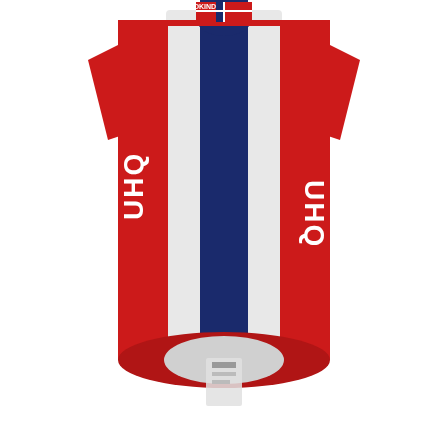[Figure (photo): A red, white, and blue cycling jersey (BMC Team Issue Mesh Speed Jersey) with Norwegian flag design, shown from the back, hanging. The jersey features red sides, a white center with a dark navy blue vertical stripe, and white text/logo on each side.]
Thor Hushovd, Original 2014 BMC Team Issue Mesh Speed Jersey, World & Norwegian Champion Design, NOS, Size L
$250.00
[Figure (photo): A white/silver cycling bib shorts or bib tights shown from the front, with the bib straps spread out in a V-shape. A red 'Sale!' badge is overlaid on the lower-left corner of the image.]